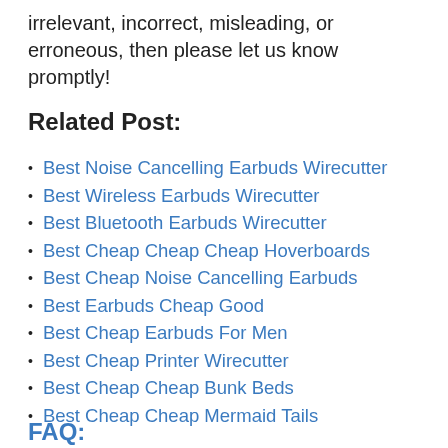irrelevant, incorrect, misleading, or erroneous, then please let us know promptly!
Related Post:
Best Noise Cancelling Earbuds Wirecutter
Best Wireless Earbuds Wirecutter
Best Bluetooth Earbuds Wirecutter
Best Cheap Cheap Cheap Hoverboards
Best Cheap Noise Cancelling Earbuds
Best Earbuds Cheap Good
Best Cheap Earbuds For Men
Best Cheap Printer Wirecutter
Best Cheap Cheap Bunk Beds
Best Cheap Cheap Mermaid Tails
FAQ: